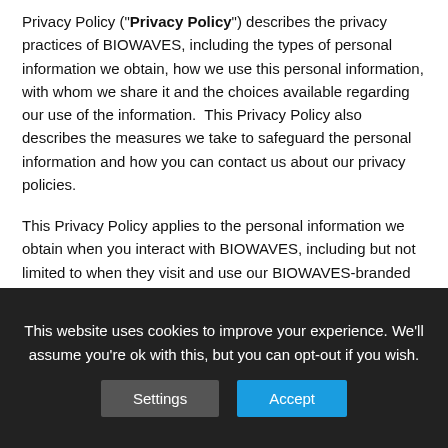Privacy Policy ("Privacy Policy") describes the privacy practices of BIOWAVES, including the types of personal information we obtain, how we use this personal information, with whom we share it and the choices available regarding our use of the information.  This Privacy Policy also describes the measures we take to safeguard the personal information and how you can contact us about our privacy policies.
This Privacy Policy applies to the personal information we obtain when you interact with BIOWAVES, including but not limited to when they visit and use our BIOWAVES-branded locations (our "Clubs"), use http://www.BIOWAVES.com, http://www.BIOWAVESexplore.com,
This website uses cookies to improve your experience. We'll assume you're ok with this, but you can opt-out if you wish.